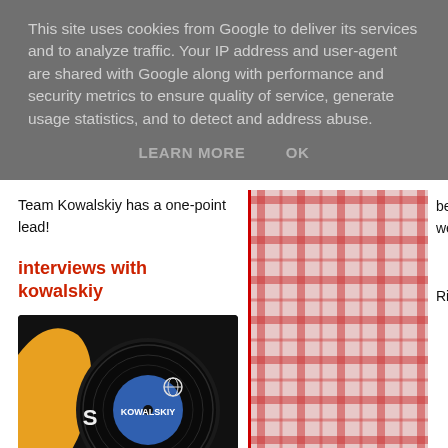This site uses cookies from Google to deliver its services and to analyze traffic. Your IP address and user-agent are shared with Google along with performance and security metrics to ensure quality of service, generate usage statistics, and to detect and address abuse.
LEARN MORE   OK
Team Kowalskiy has a one-point lead!
interviews with kowalskiy
[Figure (photo): Black vinyl record with KOWALSKIY FICTION text and logo on dark background with orange and blue elements]
[Figure (photo): Person photographed, partially visible on the right side]
bending TOTA were correct a Right, here's t